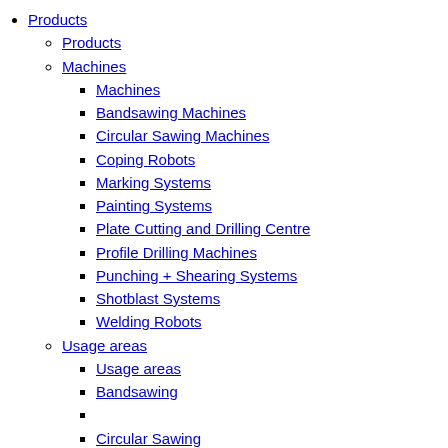Products
Products
Machines
Machines
Bandsawing Machines
Circular Sawing Machines
Coping Robots
Marking Systems
Painting Systems
Plate Cutting and Drilling Centre
Profile Drilling Machines
Punching + Shearing Systems
Shotblast Systems
Welding Robots
Usage areas
Usage areas
Bandsawing
Circular Sawing
Welding